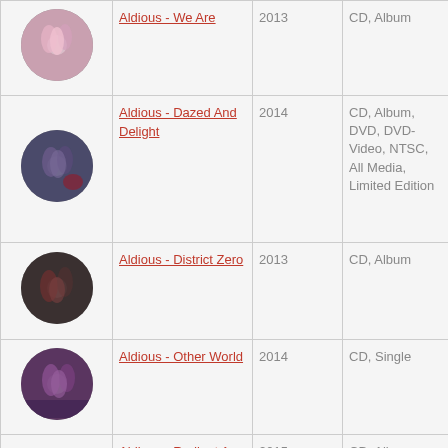| Image | Title | Year | Format |
| --- | --- | --- | --- |
| [album art] | Aldious - We Are | 2013 | CD, Album |
| [album art] | Aldious - Dazed And Delight | 2014 | CD, Album, DVD, DVD-Video, NTSC, All Media, Limited Edition |
| [album art] | Aldious - District Zero | 2013 | CD, Album |
| [album art] | Aldious - Other World | 2014 | CD, Single |
| [album art] | Aldious - Radiant A | 2015 | CD, Album, DVD, DVD-Video, NTSC, All Media, Limited |